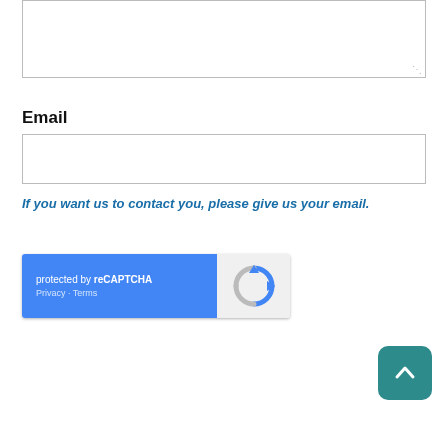[Figure (screenshot): Textarea form field (top portion visible, partially cropped)]
Email
[Figure (screenshot): Email text input field]
If you want us to contact you, please give us your email.
[Figure (screenshot): reCAPTCHA widget: 'protected by reCAPTCHA' with Privacy and Terms links, Google reCAPTCHA logo on right]
[Figure (screenshot): SUBMIT button (olive/dark green color) and a teal back-to-top arrow button]